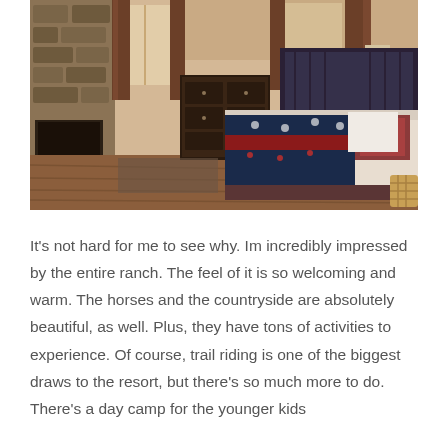[Figure (photo): Interior of a ranch-style hotel room with hardwood floors, a stone fireplace on the left, a dark wood dresser in the center background, large windows with brown drapes, and a king bed with a dark navy and red patterned blanket with horse motifs. Red and white decorative pillows on the bed. A wicker basket is visible in the lower right corner.]
It's not hard for me to see why. Im incredibly impressed by the entire ranch. The feel of it is so welcoming and warm. The horses and the countryside are absolutely beautiful, as well. Plus, they have tons of activities to experience. Of course, trail riding is one of the biggest draws to the resort, but there's so much more to do. There's a day camp for the younger kids